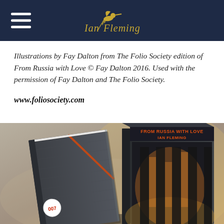Ian Fleming (logo with hummingbird)
Illustrations by Fay Dalton from The Folio Society edition of From Russia with Love © Fay Dalton 2016. Used with the permission of Fay Dalton and The Folio Society.
www.foliosociety.com
[Figure (photo): Photograph of The Folio Society edition of 'From Russia with Love' by Ian Fleming — showing a hardcover book with dark grey linen cover with an orange stripe and a 007 badge on the spine, leaning against its slipcase which shows the title 'FROM RUSSIA WITH LOVE / IAN FLEMING' in orange text on a dramatic atmospheric cover illustration.]